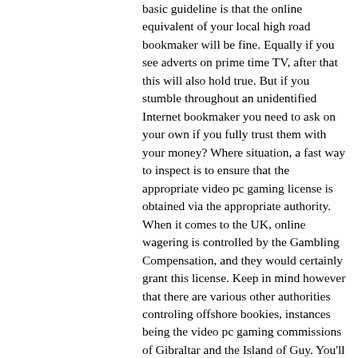basic guideline is that the online equivalent of your local high road bookmaker will be fine. Equally if you see adverts on prime time TV, after that this will also hold true. But if you stumble throughout an unidentified Internet bookmaker you need to ask on your own if you fully trust them with your money? Where situation, a fast way to inspect is to ensure that the appropriate video pc gaming license is obtained via the appropriate authority. When it comes to the UK, online wagering is controlled by the Gambling Compensation, and they would certainly grant this license. Keep in mind however that there are various other authorities controling offshore bookies, instances being the video pc gaming commissions of Gibraltar and the Island of Guy. You'll have the ability to find this